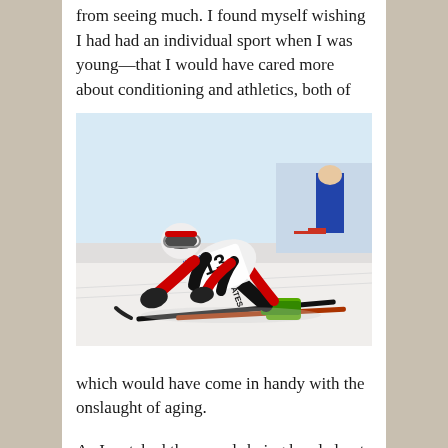from seeing much. I found myself wishing I had had an individual sport when I was young—that I would have cared more about conditioning and athletics, both of
[Figure (photo): A cross-country skier wearing race bib number 13 crouched down on hands and knees on snow, appearing exhausted after a race. The skier is wearing a red and black suit. Other skiers and spectators are visible in the background.]
which would have come in handy with the onslaught of aging.
As I watched the awards being handed out and the beaming faces standing before me